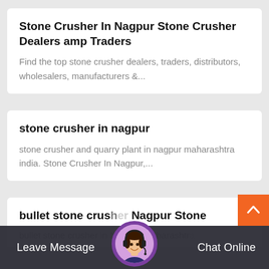Stone Crusher In Nagpur Stone Crusher Dealers amp Traders
Find the top stone crusher dealers, traders, distributors, wholesalers, manufacturers &...
stone crusher in nagpur
stone crusher and quarry plant in nagpur maharashtra india. Stone Crusher In Nagpur,...
bullet stone crusher Nagpur Stone Crusher
bullet stone crusher in Nagpur, Maharashtra
Leave Message  Chat Online